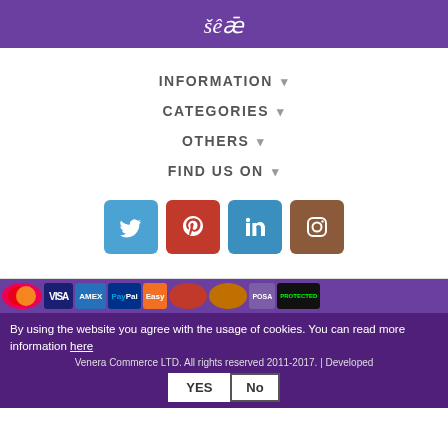[Figure (logo): Website logo in white on purple header bar]
INFORMATION ▾
CATEGORIES ▾
OTHERS ▾
FIND US ON ▾
[Figure (other): Social media icons: Twitter, Pinterest, LinkedIn, Instagram]
[Figure (other): Payment method logos: Mastercard, VISA, AMEX, PayPal, Easy, and others]
Venera Commerce LTD. All rights reserved 2011-2017. | Developed
By using the website you agree with the usage of cookies. You can read more information here
YES  No